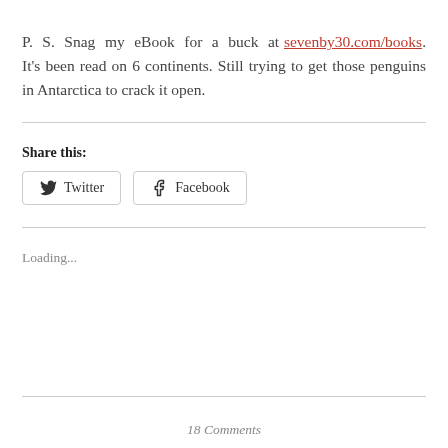P. S. Snag my eBook for a buck at sevenby30.com/books. It's been read on 6 continents. Still trying to get those penguins in Antarctica to crack it open.
Share this:
[Figure (other): Twitter and Facebook share buttons]
Loading...
18 Comments